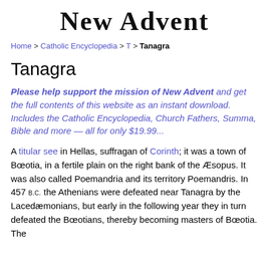New Advent
Home > Catholic Encyclopedia > T > Tanagra
Tanagra
Please help support the mission of New Advent and get the full contents of this website as an instant download. Includes the Catholic Encyclopedia, Church Fathers, Summa, Bible and more — all for only $19.99...
A titular see in Hellas, suffragan of Corinth; it was a town of Bœotia, in a fertile plain on the right bank of the Æsopus. It was also called Poemandria and its territory Poemandris. In 457 B.C. the Athenians were defeated near Tanagra by the Lacedæmonians, but early in the following year they in turn defeated the Bœotians, thereby becoming masters of Bœotia. The